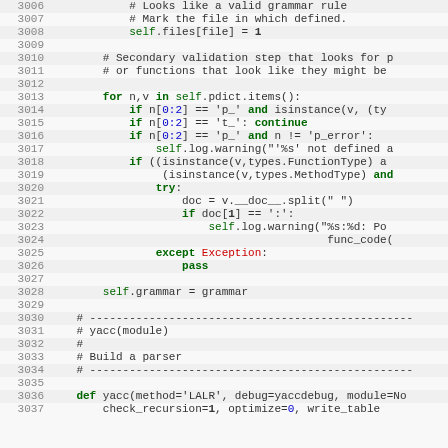[Figure (screenshot): Python source code screenshot showing lines 3006-3037 of a parser/grammar implementation with syntax highlighting. Code includes a for loop iterating over self.pdict.items(), conditional checks using isinstance(), try/except blocks, and a yacc function definition. Syntax highlighted with green for keywords, blue for numbers and special identifiers, red for exception names.]